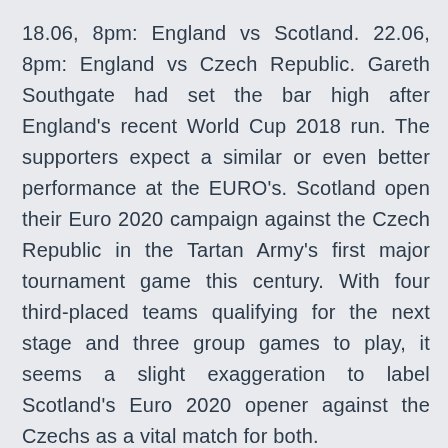18.06, 8pm: England vs Scotland. 22.06, 8pm: England vs Czech Republic. Gareth Southgate had set the bar high after England's recent World Cup 2018 run. The supporters expect a similar or even better performance at the EURO's. Scotland open their Euro 2020 campaign against the Czech Republic in the Tartan Army's first major tournament game this century. With four third-placed teams qualifying for the next stage and three group games to play, it seems a slight exaggeration to label Scotland's Euro 2020 opener against the Czechs as a vital match for both.